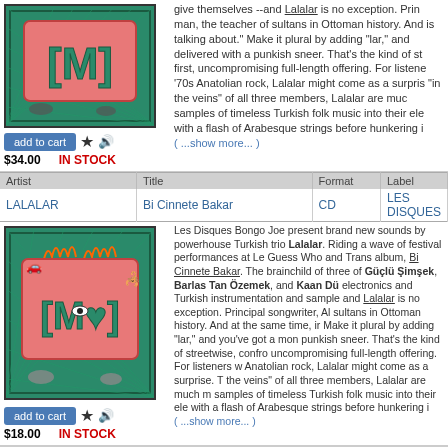[Figure (illustration): Album cover art for Lalalar - teal/green background with pink ornate frame and stylized M shape with an eye, decorative elements]
add to cart  ★  🔊
$34.00   IN STOCK
give themselves --and Lalalar is no exception. Principal songwriter, Al man, the teacher of sultans in Ottoman history. And at the same time, i is talking about." Make it plural by adding "lar," and you've got a mon delivered with a punkish sneer. That's the kind of streetwise, confronta first, uncompromising full-length offering. For listeners who grew up wi '70s Anatolian rock, Lalalar might come as a surprise. Though the genre "in the veins" of all three members, Lalalar are much more than... sample samples of timeless Turkish folk music into their electronics... with a flash of Arabesque strings before hunkering i
( ...show more... )
| Artist | Title | Format | Label |
| --- | --- | --- | --- |
| LALALAR | Bi Cinnete Bakar | CD | LES DISQUES |
[Figure (illustration): Album cover art for Lalalar Bi Cinnete Bakar - teal/green background with pink ornate frame, stylized M shape with a heart and eye, flames, car, scorpion, sandals, decorative elements]
add to cart  ★  🔊
$18.00   IN STOCK
Les Disques Bongo Joe present brand new sounds by powerhouse Turkish trio Lalalar. Riding a wave of festival performances at Le Guess Who and Trans album, Bi Cinnete Bakar. The brainchild of three of Güçlü Şimşek, Barlas Tan Özemek, and Kaan Dü electronics and Turkish instrumentation and sample and Lalalar is no exception. Principal songwriter, Al sultans in Ottoman history. And at the same time, ir Make it plural by adding "lar," and you've got a mon punkish sneer. That's the kind of streetwise, confro uncompromising full-length offering. For listeners w Anatolian rock, Lalalar might come as a surprise. T the veins" of all three members, Lalalar are much m samples of timeless Turkish folk music into their ele with a flash of Arabesque strings before hunkering i
( ...show more... )
Contact Us | FAQ | Employment Opportunities | Shipping Info | P
This Site © 1995-2022 Forced